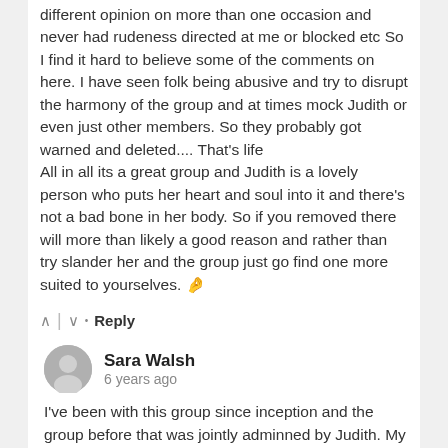different opinion on more than one occasion and never had rudeness directed at me or blocked etc So I find it hard to believe some of the comments on here. I have seen folk being abusive and try to disrupt the harmony of the group and at times mock Judith or even just other members. So they probably got warned and deleted.... That's life
All in all its a great group and Judith is a lovely person who puts her heart and soul into it and there's not a bad bone in her body. So if you removed there will more than likely a good reason and rather than try slander her and the group just go find one more suited to yourselves. 🤌
^ | ∨ · Reply
Sara Walsh
6 years ago
I've been with this group since inception and the group before that was jointly adminned by Judith. My experience has been that if you obey the very